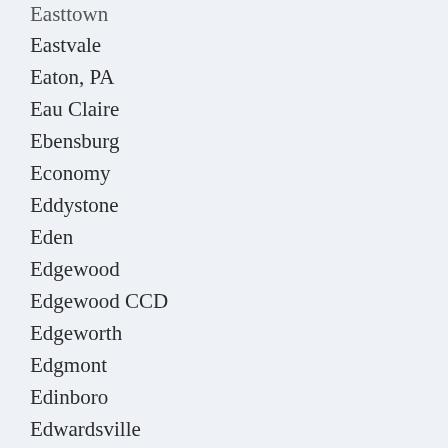Easttown
Eastvale
Eaton, PA
Eau Claire
Ebensburg
Economy
Eddystone
Eden
Edgewood
Edgewood CCD
Edgeworth
Edgmont
Edinboro
Edwardsville
Ehrenfeld
Elco
Elder